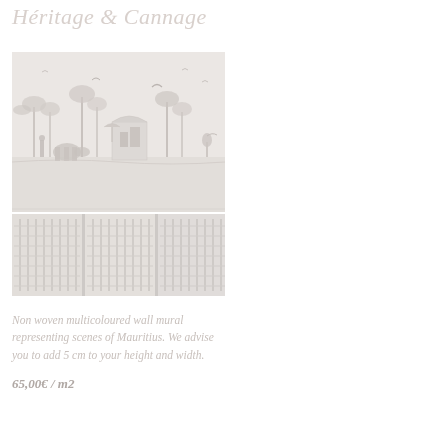Héritage & Cannage
[Figure (photo): Non-woven multicoloured wall mural showing scenes of Mauritius — top portion showing tropical landscape with palm trees, birds, and architecture; bottom portion showing a wicker/cannage pattern panel]
Non woven multicoloured wall mural representing scenes of Mauritius. We advise you to add 5 cm to your height and width.
65,00€ / m2